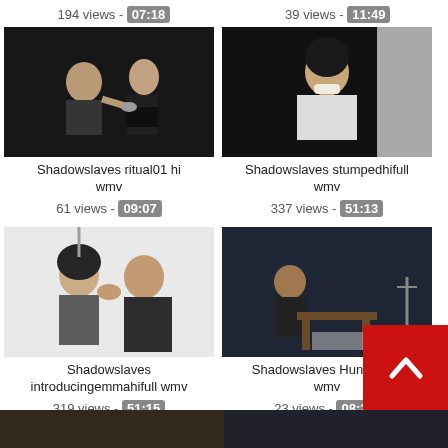194 views - 07:18
39 views - 11:49
[Figure (photo): Video thumbnail showing two people, dark background]
Shadowslaves ritual01 hi wmv
61 views - 09:07
[Figure (photo): Video thumbnail showing a woman, dark background]
Shadowslaves stumpedhifull wmv
337 views - 51:13
[Figure (photo): Video thumbnail showing two people close up, light background]
Shadowslaves introducingemmahifull wmv
319 views - 51:15
[Figure (photo): Video thumbnail showing a person sitting at a table, dark curtain background]
Shadowslaves Hung...01 hi wmv
23 views - 08:2...
[Figure (photo): Partial thumbnails at bottom of page]